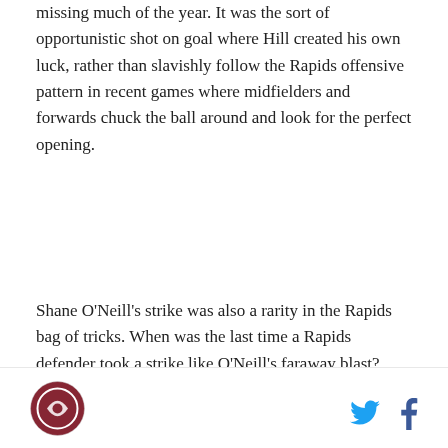missing much of the year. It was the sort of opportunistic shot on goal where Hill created his own luck, rather than slavishly follow the Rapids offensive pattern in recent games where midfielders and forwards chuck the ball around and look for the perfect opening.
Shane O'Neill's strike was also a rarity in the Rapids bag of tricks. When was the last time a Rapids defender took a strike like O'Neill's faraway blast? When has a Rapids defender not named Drew Moor found the net in the run of play and not a set piece.
Goals by Hill and O'Neill were a departure from business as usual for the Rapids in that they're weren't
[Figure (logo): Colorado Rapids circular logo with burgundy background]